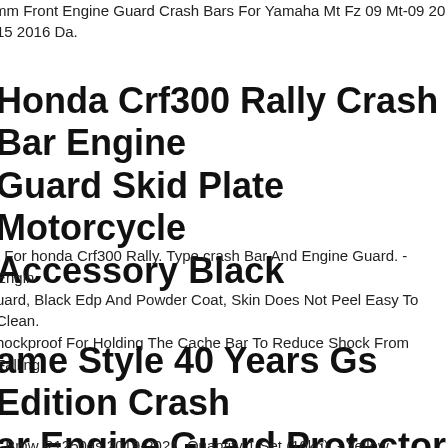mm Front Engine Guard Crash Bars For Yamaha Mt Fz 09 Mt-09 20 15 2016 Da.
Honda Crf300 Rally Crash Bar Engine Guard Skid Plate Motorcycle Accessory Black
t For honda Crf300 Rally. Type crash Bar And Engine Guard. - Engin uard, Black Edp And Powder Coat, Skin Does Not Peel Easy To Clean. hockproof For Holding The Cache Bar To Reduce Shock From Falling.
ame Style 40 Years Gs Edition Crash ar Engine Guard Protector For Bmw R1250gs
r Bmw R1250gs 2019-2021. Quantity 1 Set (10kg). - Yellow Powder-